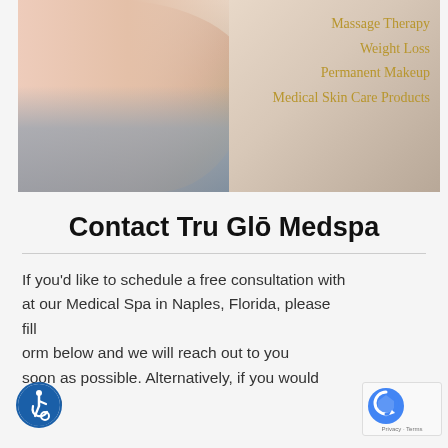[Figure (photo): Woman lying relaxed with eyes closed on massage table, head resting on hands, spa/wellness setting. Text overlay lists spa services in gold/tan color on the right side.]
Massage Therapy
Weight Loss
Permanent Makeup
Medical Skin Care Products
Contact Tru Glō Medspa
If you'd like to schedule a free consultation with at our Medical Spa in Naples, Florida, please fill form below and we will reach out to you soon as possible. Alternatively, if you would like to